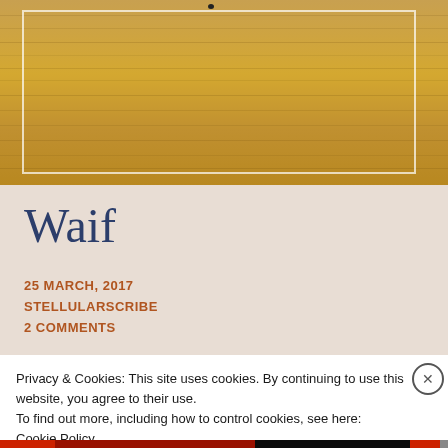[Figure (photo): A golden-hued photograph of water surface with warm amber and orange tones, possibly a sunset reflection, with a thin white inner border frame. A small dark object is barely visible near the top center.]
Waif
25 MARCH, 2017
STELLULARSCRIBE
2 COMMENTS
Privacy & Cookies: This site uses cookies. By continuing to use this website, you agree to their use.
To find out more, including how to control cookies, see here:
Cookie Policy
Close and accept